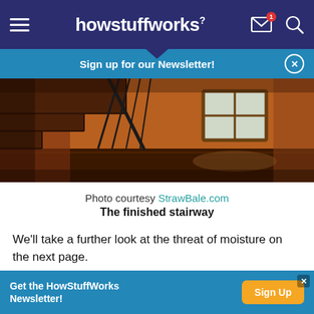howstuffworks
Sign up for our Newsletter!
[Figure (photo): Interior photo of a finished stairway with dark wood steps, wrought iron railing, and a window at the end of the hallway with warm orange walls.]
Photo courtesy StrawBale.com
The finished stairway
We'll take a further look at the threat of moisture on the next page.
Advertisement
Get the HowStuffWorks Newsletter! Sign Up